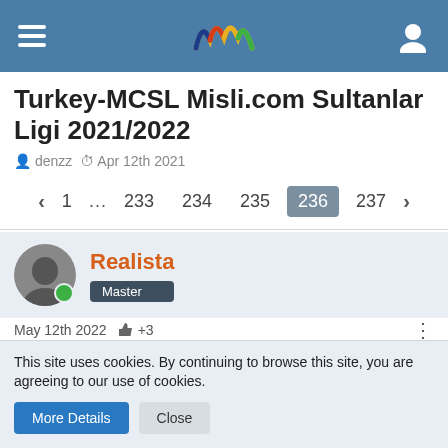Turkey-MCSL Misli.com Sultanlar Ligi 2021/2022 — navigation header
Turkey-MCSL Misli.com Sultanlar Ligi 2021/2022
denzz   Apr 12th 2021
< 1 ... 233 234 235 236 237 >
Realista
Master
May 12th 2022  👍+3
Quote from Bogdan
This site uses cookies. By continuing to browse this site, you are agreeing to our use of cookies.